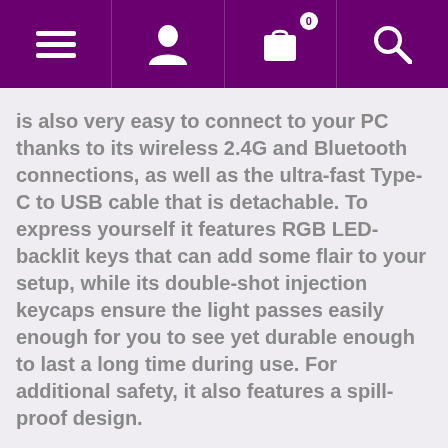Navigation bar with menu, user, cart (0), and search icons
is also very easy to connect to your PC thanks to its wireless 2.4G and Bluetooth connections, as well as the ultra-fast Type-C to USB cable that is detachable. To express yourself it features RGB LED-backlit keys that can add some flair to your setup, while its double-shot injection keycaps ensure the light passes easily enough for you to see yet durable enough to last a long time during use. For additional safety, it also features a spill-proof design.
FEATURES:
Wireless 2.4G and Bluetooth Support
Super slim housing with a quality metal plate
Ultra-low-profile & detachable mechanical